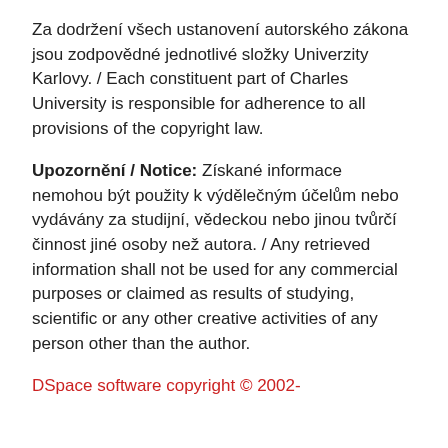Za dodržení všech ustanovení autorského zákona jsou zodpovědné jednotlivé složky Univerzity Karlovy. / Each constituent part of Charles University is responsible for adherence to all provisions of the copyright law.
Upozornění / Notice: Získané informace nemohou být použity k výdělečným účelům nebo vydávány za studijní, vědeckou nebo jinou tvůrčí činnost jiné osoby než autora. / Any retrieved information shall not be used for any commercial purposes or claimed as results of studying, scientific or any other creative activities of any person other than the author.
DSpace software copyright © 2002-